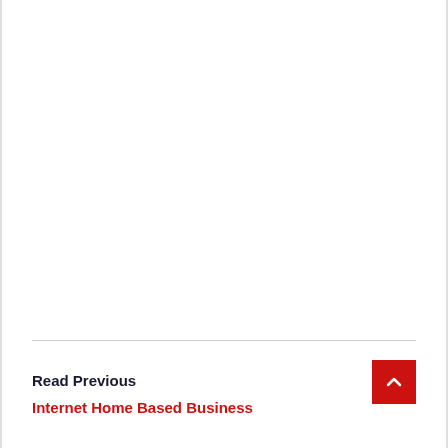Read Previous
Internet Home Based Business